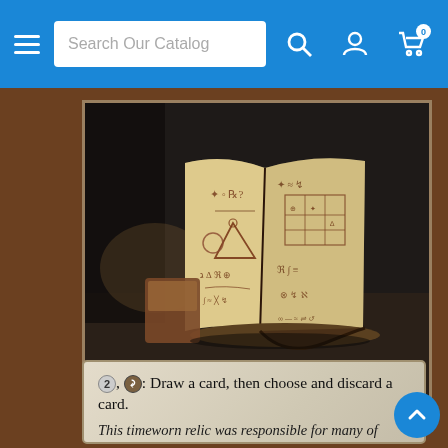Search Our Catalog
[Figure (illustration): An open ancient spellbook with arcane runes and diagrams on yellowed pages, sitting on a dark stone surface with brown leather binding. A smaller book or scroll lies to the left.]
Artifact
2, {Tap}: Draw a card, then choose and discard a card.
This timeworn relic was responsible for many of Urza's victories, though he never fully comprehended its mystic runes.